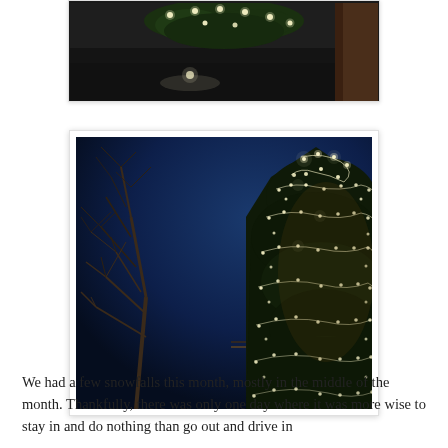[Figure (photo): Partial top of a photograph showing Christmas lights and decorations against a dark background, cropped at the top of the page.]
[Figure (photo): Night photograph of a large outdoor tree decorated with strands of warm white Christmas lights draped across its branches, set against a deep blue evening sky. Bare tree branches visible on the left side.]
We had a few snowfalls this month, mostly in the middle of the month. Thankfully, there was only one day where it was more wise to stay in and do nothing than go out and drive in